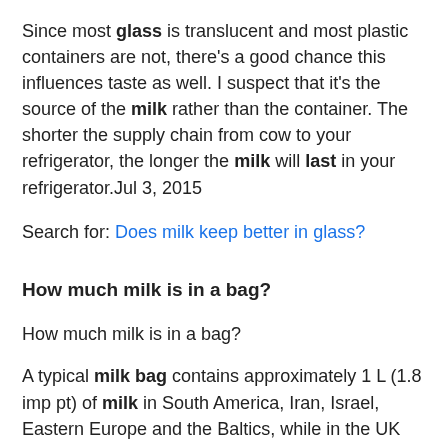Since most glass is translucent and most plastic containers are not, there's a good chance this influences taste as well. I suspect that it's the source of the milk rather than the container. The shorter the supply chain from cow to your refrigerator, the longer the milk will last in your refrigerator.Jul 3, 2015
Search for: Does milk keep better in glass?
How much milk is in a bag?
How much milk is in a bag?
A typical milk bag contains approximately 1 L (1.8 imp pt) of milk in South America, Iran, Israel, Eastern Europe and the Baltics, while in the UK they contain 2 imperial pints (1.1 L). In Canada, 1.13 litres (2.0 imp pt) and the